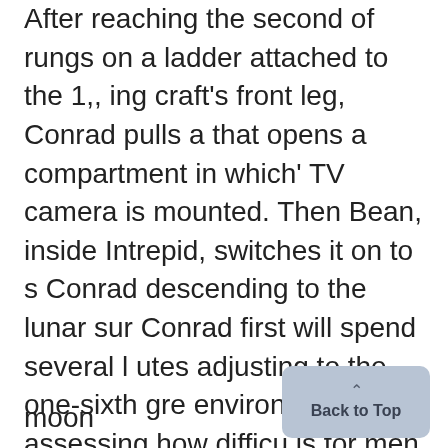After reaching the second of rungs on a ladder attached to the 1,, ing craft's front leg, Conrad pulls a that opens a compartment in which' TV camera is mounted. Then Bean, inside Intrepid, switches it on to s Conrad descending to the lunar sur Conrad first will spend several l utes adjusting to the one-sixth gre environment, assessing how difficu is for men to keep their balance or moon.
moon